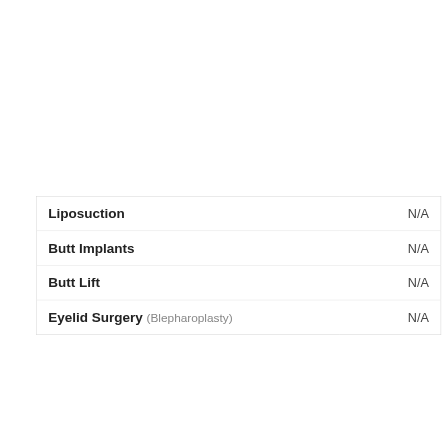| Procedure | Value |
| --- | --- |
| Liposuction | N/A |
| Butt Implants | N/A |
| Butt Lift | N/A |
| Eyelid Surgery (Blepharoplasty) | N/A |